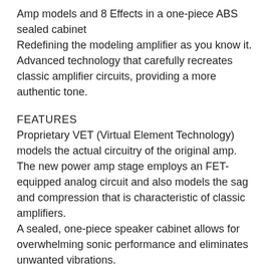Amp models and 8 Effects in a one-piece ABS sealed cabinet
Redefining the modeling amplifier as you know it. Advanced technology that carefully recreates classic amplifier circuits, providing a more authentic tone.
FEATURES
Proprietary VET (Virtual Element Technology) models the actual circuitry of the original amp.
The new power amp stage employs an FET-equipped analog circuit and also models the sag and compression that is characteristic of classic amplifiers.
A sealed, one-piece speaker cabinet allows for overwhelming sonic performance and eliminates unwanted vibrations.
A unique bass-reflex design delivers an unprecedented amount of rich low end for an